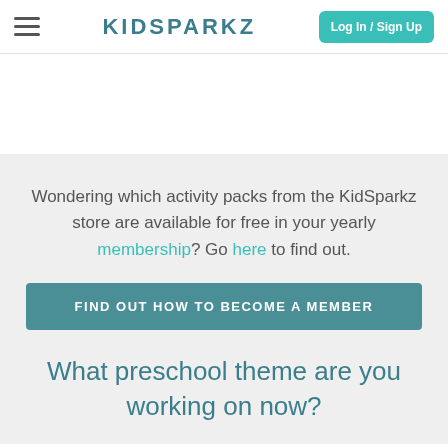KIDSPARKZ | Log In / Sign Up
Wondering which activity packs from the KidSparkz store are available for free in your yearly membership?  Go here to find out.
FIND OUT HOW TO BECOME A MEMBER
What preschool theme are you working on now?